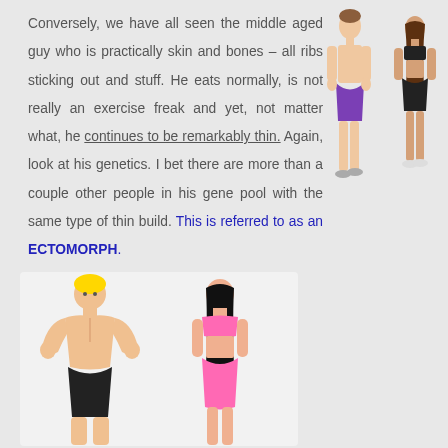Conversely, we have all seen the middle aged guy who is practically skin and bones – all ribs sticking out and stuff. He eats normally, is not really an exercise freak and yet, not matter what, he continues to be remarkably thin. Again, look at his genetics. I bet there are more than a couple other people in his gene pool with the same type of thin build. This is referred to as an ECTOMORPH.
[Figure (illustration): Two illustrated figures: a lean male wearing purple shorts and a lean female wearing black sports bra and shorts, representing ectomorph body type.]
[Figure (illustration): Two illustrated figures: a muscular male with blonde hair wearing black shorts and a fit female wearing pink sports bra and shorts, representing a different body type (mesomorph).]